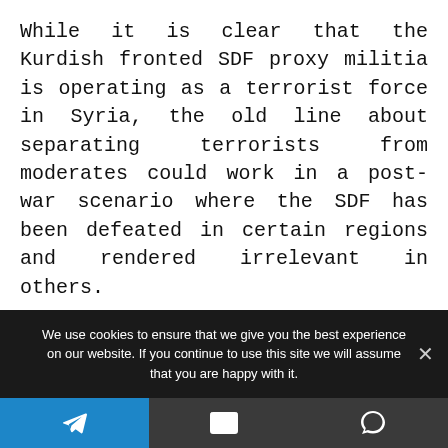While it is clear that the Kurdish fronted SDF proxy militia is operating as a terrorist force in Syria, the old line about separating terrorists from moderates could work in a post-war scenario where the SDF has been defeated in certain regions and rendered irrelevant in others.
In exchange for negotiated autonomy, one which would clearly have to protect the rights of Arabs in ‘Kurdish regions’ of an Arab Republic, Syria
We use cookies to ensure that we give you the best experience on our website. If you continue to use this site we will assume that you are happy with it.